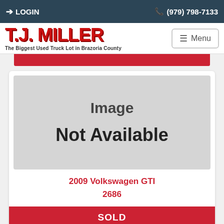LOGIN | (979) 798-7133
[Figure (logo): T.J. Miller logo with tagline 'The Biggest Used Truck Lot in Brazoria County' and hamburger Menu button]
[Figure (photo): Image Not Available placeholder (grey box)]
2009 Volkswagen GTI
2686
SOLD